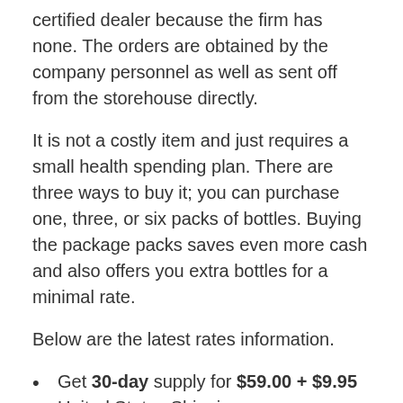certified dealer because the firm has none. The orders are obtained by the company personnel as well as sent off from the storehouse directly.
It is not a costly item and just requires a small health spending plan. There are three ways to buy it; you can purchase one, three, or six packs of bottles. Buying the package packs saves even more cash and also offers you extra bottles for a minimal rate.
Below are the latest rates information.
Get 30-day supply for $59.00 + $9.95 United States Shipping
Obtain a 90-day supply for $240 + Free United States Shipping